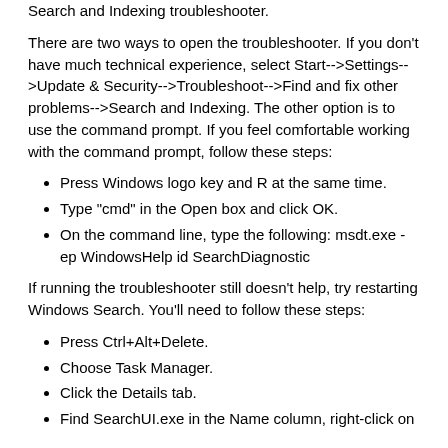Search and Indexing troubleshooter.
There are two ways to open the troubleshooter. If you don't have much technical experience, select Start-->Settings-->Update & Security-->Troubleshoot-->Find and fix other problems-->Search and Indexing. The other option is to use the command prompt. If you feel comfortable working with the command prompt, follow these steps:
Press Windows logo key and R at the same time.
Type "cmd" in the Open box and click OK.
On the command line, type the following: msdt.exe -ep WindowsHelp id SearchDiagnostic
If running the troubleshooter still doesn't help, try restarting Windows Search. You'll need to follow these steps:
Press Ctrl+Alt+Delete.
Choose Task Manager.
Click the Details tab.
Find SearchUI.exe in the Name column, right-click on